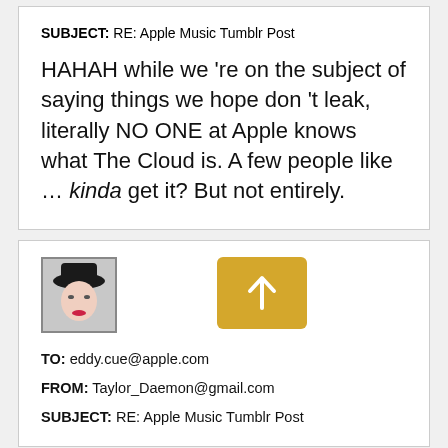SUBJECT: RE: Apple Music Tumblr Post
HAHAH while we 're on the subject of saying things we hope don 't leak, literally NO ONE at Apple knows what The Cloud is. A few people like … kinda get it? But not entirely.
[Figure (photo): Profile photo of a person wearing a black hat, and a golden/yellow square button with an upward arrow icon]
TO: eddy.cue@apple.com
FROM: Taylor_Daemon@gmail.com
SUBJECT: RE: Apple Music Tumblr Post